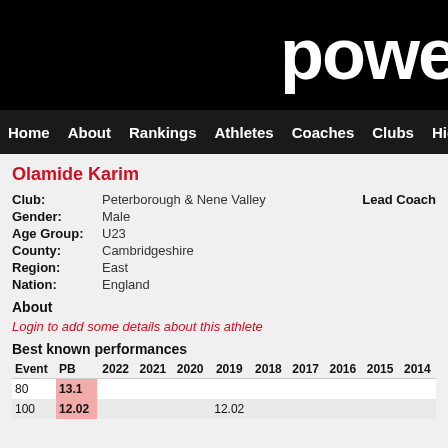powe
Home  About  Rankings  Athletes  Coaches  Clubs  Highlight
Olamide Karim
| Field | Value |
| --- | --- |
| Club: | Peterborough & Nene Valley |
| Gender: | Male |
| Age Group: | U23 |
| County: | Cambridgeshire |
| Region: | East |
| Nation: | England |
About
Login to add some details about this athlete
Best known performances
| Event | PB | 2022 | 2021 | 2020 | 2019 | 2018 | 2017 | 2016 | 2015 | 2014 |
| --- | --- | --- | --- | --- | --- | --- | --- | --- | --- | --- |
| 80 | 13.1 |  |  |  |  |  |  |  |  |  |
| 100 | 12.02 |  |  |  | 12.02 |  |  |  |  |  |